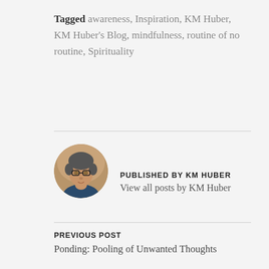Tagged awareness, Inspiration, KM Huber, KM Huber's Blog, mindfulness, routine of no routine, Spirituality
[Figure (photo): Circular avatar photo of KM Huber, an older woman with glasses, wearing a blue top, with a warm indoor background.]
PUBLISHED BY KM HUBER
View all posts by KM Huber
PREVIOUS POST
Ponding: Pooling of Unwanted Thoughts